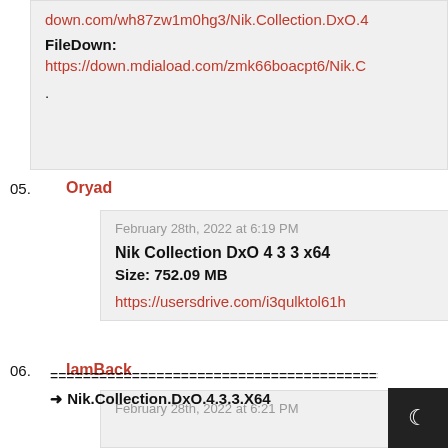down.com/wh87zw1m0hg3/Nik.Collection.DxO.4…
FileDown:
https://down.mdiaload.com/zmk66boacpt6/Nik.C…
.
05.  Oryad
February 28th, 2022 at 6:19 PM
Nik Collection DxO 4 3 3 x64
Size: 752.09 MB
https://usersdrive.com/i3qulktol61h
06.  IamBack
February 28th, 2022 at 6:21 PM
==============================================…
➜ Nik.Collection.DxO.4.3.3.X64